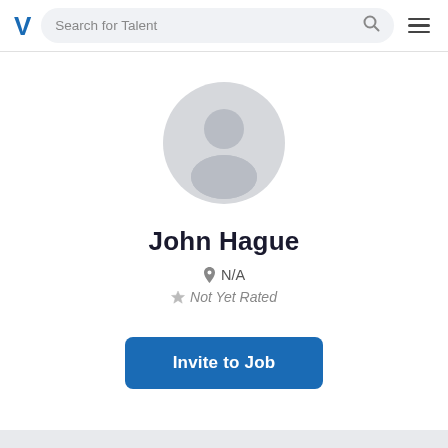V  Search for Talent
[Figure (illustration): Default user avatar — a grey circle containing a silhouette of a person (head and shoulders)]
John Hague
N/A
Not Yet Rated
Invite to Job